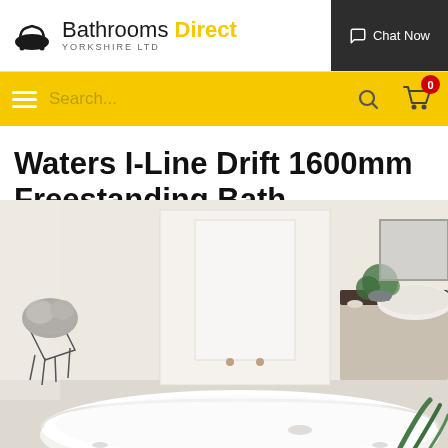Bathrooms Direct YORKSHIRE LTD — Chat Now
[Figure (screenshot): Website navigation bar with hamburger menu, search field, search icon, and shopping cart with 0 items badge on yellow background]
Waters I-Line Drift 1600mm Freestanding Bath
[Figure (photo): A modern freestanding white oval bath in a stylish bathroom setting with a grey cat on a wire chair, a plant, vanity unit with marble top, and vessel sink]